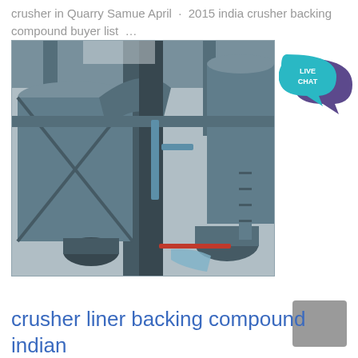crusher in Quarry Samue April · 2015 india crusher backing compound buyer list …
[Figure (photo): Industrial crusher or milling equipment with large metal silos, ducts, pipes, and structural framework inside a factory or plant building. The equipment is predominantly grey/steel colored with some blue pipes visible.]
[Figure (illustration): Live Chat button icon: teal speech bubble with dark purple speech bubble behind it, text 'LIVE CHAT' in white inside teal bubble.]
crusher liner backing compound indian